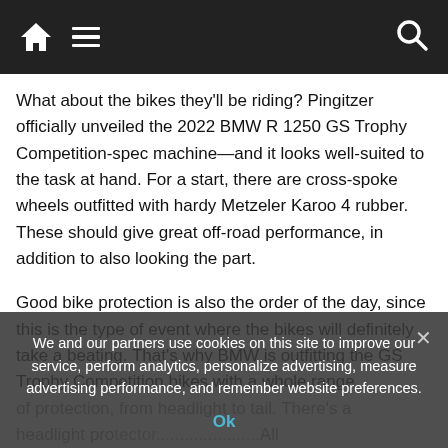Navigation bar with home, menu, and search icons
What about the bikes they'll be riding? Pingitzer officially unveiled the 2022 BMW R 1250 GS Trophy Competition-spec machine—and it looks well-suited to the task at hand. For a start, there are cross-spoke wheels outfitted with hardy Metzeler Karoo 4 rubber. These should give great off-road performance, in addition to also looking the part.
Good bike protection is also the order of the day, since this is the type of event where the bikes will definitely take a beating. That's why BMW is outfitting the GS Trophy Competition bikes with a whole range of protection, from headlight to tail. There's a headlight protector...protection...
A full complement of engine protection is also fitted
We and our partners use cookies on this site to improve our service, perform analytics, personalize advertising, measure advertising performance, and remember website preferences.